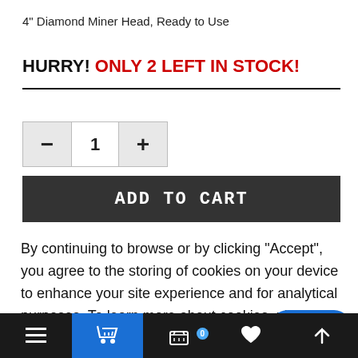4" Diamond Miner Head, Ready to Use
HURRY! ONLY 2 LEFT IN STOCK!
[Figure (other): Quantity selector widget with minus button, value '1', and plus button]
ADD TO CART
By continuing to browse or by clicking "Accept", you agree to the storing of cookies on your device to enhance your site experience and for analytical purposes. To learn more about cookies, please visit www.aboutcookies.org
[Figure (other): Blue rounded help/contact button in bottom right corner]
[Figure (other): Black bottom navigation bar with hamburger menu, blue cart icon, basket with badge 0, heart, and up-arrow icons]